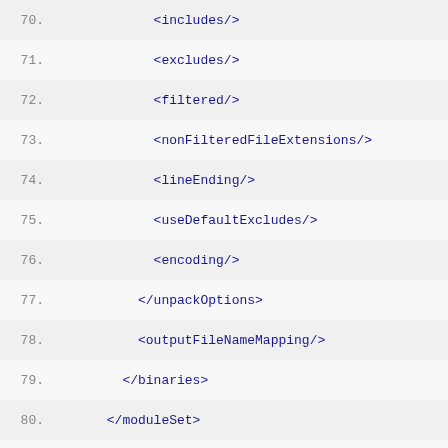70.    <includes/>
71.    <excludes/>
72.    <filtered/>
73.    <nonFilteredFileExtensions/>
74.    <lineEnding/>
75.    <useDefaultExcludes/>
76.    <encoding/>
77.    </unpackOptions>
78.    <outputFileNameMapping/>
79.    </binaries>
80.    </moduleSet>
81.  </moduleSets>
82.  <fileSets>
83.    <fileSet>
84.      <useDefaultExcludes/>
85.      <outputDirectory/>
86.      <includes/>
87.      <excludes/>
88.      <fileMode/>
89.      <directoryMode/>
90.      <directory/>
91.      <lineEnding/>
92.      <filtered/>